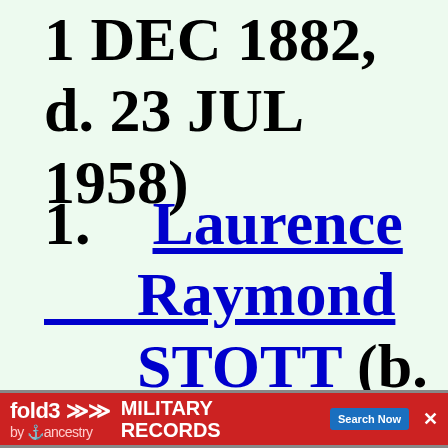1 DEC 1882, d. 23 JUL 1958)
1.    Laurence Raymond STOTT (b. 19 JUN 1908, d. 26 NOV
[Figure (other): fold3 by Ancestry advertisement banner for Military Records with Search Now button]